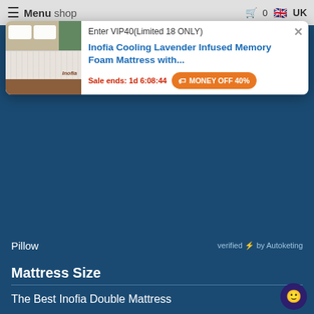Menu Shop | 0 | UK
[Figure (screenshot): Popup advertisement showing an Inofia mattress image on left, with text 'Enter VIP40(Limited 18 ONLY)', product title 'Inofia Cooling Lavender Infused Memory Foam Mattress with...', sale timer 'Sale ends: 1d 6:08:44', and orange button 'MONEY OFF 40%'. Close X button top right.]
Pillow
verified ⚡ by Autoketing
Mattress Size
The Best Inofia Double Mattress
The Best Inofia King Mattress
The Best Inofia Single Mattress
Inofia US
Terms of Service